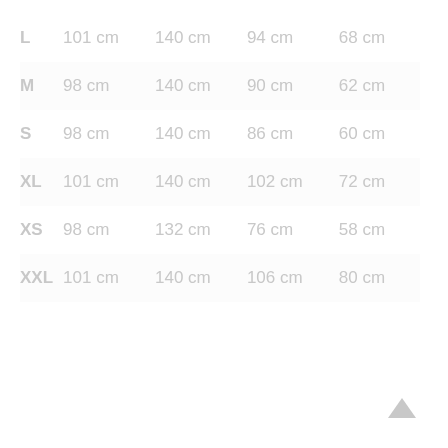| Size | Col1 | Col2 | Col3 | Col4 |
| --- | --- | --- | --- | --- |
| L | 101 cm | 140 cm | 94 cm | 68 cm |
| M | 98 cm | 140 cm | 90 cm | 62 cm |
| S | 98 cm | 140 cm | 86 cm | 60 cm |
| XL | 101 cm | 140 cm | 102 cm | 72 cm |
| XS | 98 cm | 132 cm | 76 cm | 58 cm |
| XXL | 101 cm | 140 cm | 106 cm | 80 cm |